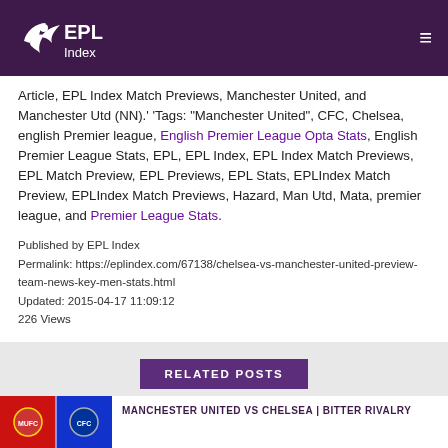EPL Index
Article, EPL Index Match Previews, Manchester United, and Manchester Utd (NN).' 'Tags: "Manchester United", CFC, Chelsea, english Premier league, English Premier League Opta Stats, English Premier League Stats, EPL, EPL Index, EPL Index Match Previews, EPL Match Preview, EPL Previews, EPL Stats, EPLIndex Match Preview, EPLIndex Match Previews, Hazard, Man Utd, Mata, premier league, and Premier League Stats.
Published by EPL Index
Permalink: https://eplindex.com/67138/chelsea-vs-manchester-united-preview-team-news-key-men-stats.html
Updated: 2015-04-17 11:09:12
226 Views
RELATED POSTS
MANCHESTER UNITED VS CHELSEA | BITTER RIVALRY